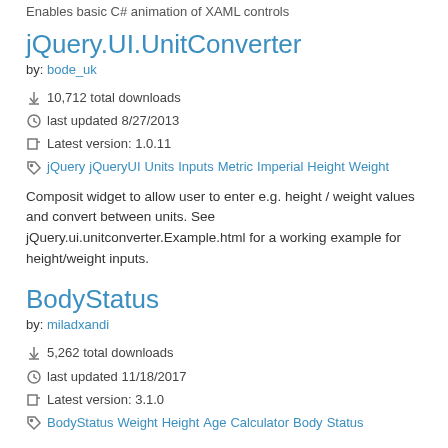Enables basic C# animation of XAML controls
jQuery.UI.UnitConverter
by: bode_uk
10,712 total downloads
last updated 8/27/2013
Latest version: 1.0.11
jQuery jQueryUI Units Inputs Metric Imperial Height Weight
Composit widget to allow user to enter e.g. height / weight values and convert between units. See jQuery.ui.unitconverter.Example.html for a working example for height/weight inputs.
BodyStatus
by: miladxandi
5,262 total downloads
last updated 11/18/2017
Latest version: 3.1.0
BodyStatus Weight Height Age Calculator Body Status